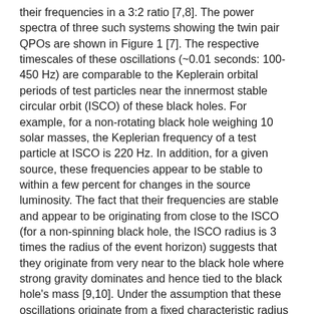their frequencies in a 3:2 ratio [7,8]. The power spectra of three such systems showing the twin pair QPOs are shown in Figure 1 [7]. The respective timescales of these oscillations (~0.01 seconds: 100-450 Hz) are comparable to the Keplerain orbital periods of test particles near the innermost stable circular orbit (ISCO) of these black holes. For example, for a non-rotating black hole weighing 10 solar masses, the Keplerian frequency of a test particle at ISCO is 220 Hz. In addition, for a given source, these frequencies appear to be stable to within a few percent for changes in the source luminosity. The fact that their frequencies are stable and appear to be originating from close to the ISCO (for a non-spinning black hole, the ISCO radius is 3 times the radius of the event horizon) suggests that they originate from very near to the black hole where strong gravity dominates and hence tied to the black hole's mass [9,10]. Under the assumption that these oscillations originate from a fixed characteristic radius within the accretion disk around the black hole, their frequencies should scale inversely with the black hole mass, and there is observational support that they do for stellar-mass black holes [7].